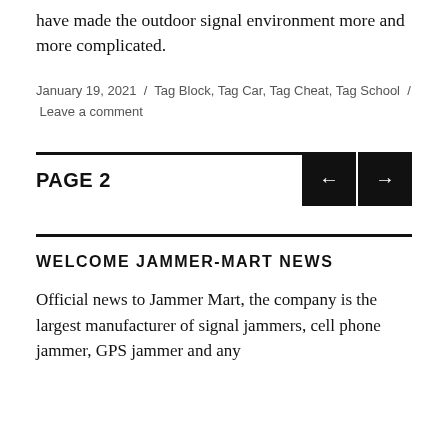have made the outdoor signal environment more and more complicated.
January 19, 2021 / Tag Block, Tag Car, Tag Cheat, Tag School / Leave a comment
PAGE 2
WELCOME JAMMER-MART NEWS
Official news to Jammer Mart, the company is the largest manufacturer of signal jammers, cell phone jammer, GPS jammer and any